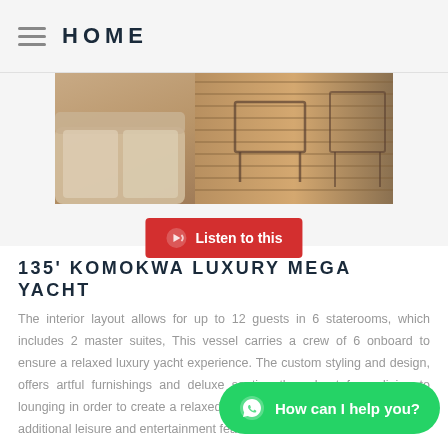HOME
[Figure (photo): Partial view of luxury yacht deck with lounge seating and wood decking with metal furniture]
Listen to this
135' KOMOKWA LUXURY MEGA YACHT
The interior layout allows for up to 12 guests in 6 staterooms, which includes 2 master suites, This vessel carries a crew of 6 onboard to ensure a relaxed luxury yacht experience. The custom styling and design, offers artful furnishings and deluxe seating throughout from dining to lounging in order to create a relaxed and comfortable atmosphere. It's the additional leisure and entertainment features that make this vessel provide the ultimate of...
How can I help you?